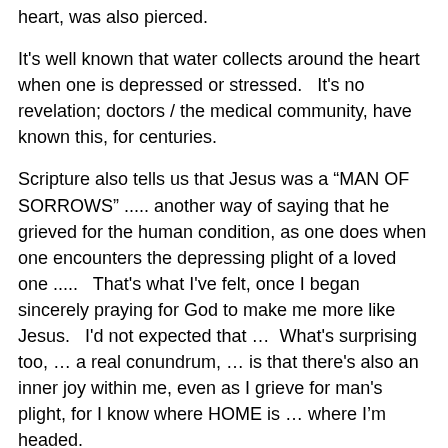heart, was also pierced.
It's well known that water collects around the heart when one is depressed or stressed.   It's no revelation; doctors / the medical community, have known this, for centuries.
Scripture also tells us that Jesus was a “MAN OF SORROWS” ..... another way of saying that he grieved for the human condition, as one does when one encounters the depressing plight of a loved one .....   That's what I've felt, once I began sincerely praying for God to make me more like Jesus.   I'd not expected that …  What's surprising too, … a real conundrum, … is that there's also an inner joy within me, even as I grieve for man's plight, for I know where HOME is … where I’m headed.
Reminds me to mention Occam’s Razor: “the simplest explanation is most likely the correct one.”